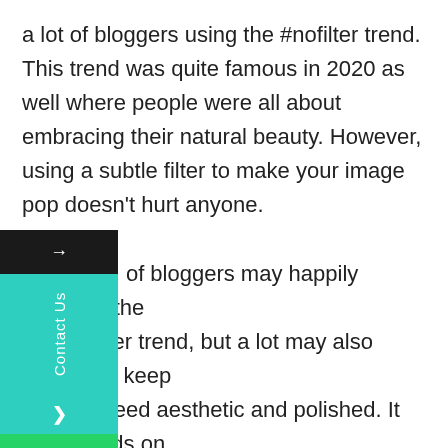a lot of bloggers using the #nofilter trend. This trend was quite famous in 2020 as well where people were all about embracing their natural beauty. However, using a subtle filter to make your image pop doesn't hurt anyone.

While a lot of bloggers may happily embrace the no filter trend, but a lot may also choose to keep their feed aesthetic and polished. It all depends on the people's choices.

While Instagram is the world's largest visual platform, pretty looking pictures aren't enough, people need to post quality and meaningful content with engaging captions to stand out as an
[Figure (other): Website sidebar widget with arrow button (dark), 'Contact Us' vertical text (teal), chevron arrow (teal), and WhatsApp icon (green)]